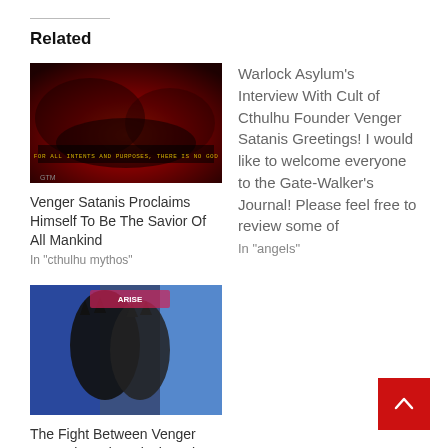Related
[Figure (photo): Dark red abstract image with text overlay reading 'FOR ALL INTENTS AND PURPOSES, THERE IS NO GOD']
Venger Satanis Proclaims Himself To Be The Savior Of All Mankind
In "cthulhu mythos"
Warlock Asylum's Interview With Cult of Cthulhu Founder Venger Satanis Greetings! I would like to welcome everyone to the Gate-Walker's Journal!  Please feel free to review some of
In "angels"
[Figure (photo): Two figures dressed in black superhero/bat costumes appearing to fight, with colorful background]
The Fight Between Venger Santanis and Warlock Asylum Caught on Video Tape